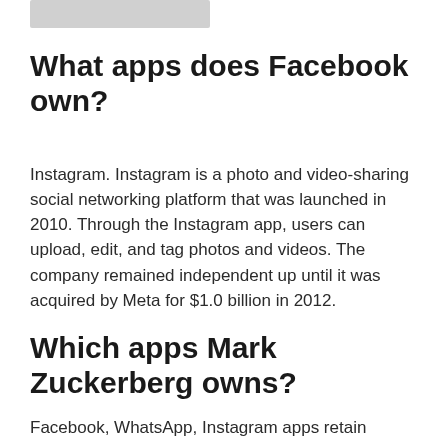What apps does Facebook own?
Instagram. Instagram is a photo and video-sharing social networking platform that was launched in 2010. Through the Instagram app, users can upload, edit, and tag photos and videos. The company remained independent up until it was acquired by Meta for $1.0 billion in 2012.
Which apps Mark Zuckerberg owns?
Facebook, WhatsApp, Instagram apps retain